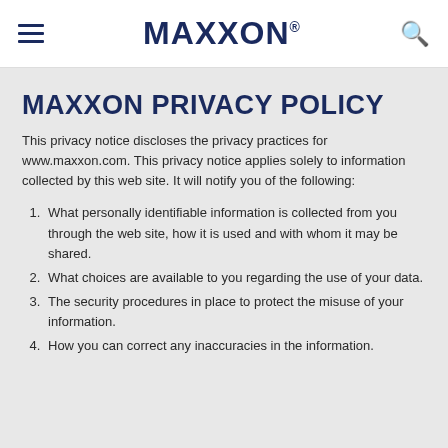MAXXON
MAXXON PRIVACY POLICY
This privacy notice discloses the privacy practices for www.maxxon.com. This privacy notice applies solely to information collected by this web site. It will notify you of the following:
What personally identifiable information is collected from you through the web site, how it is used and with whom it may be shared.
What choices are available to you regarding the use of your data.
The security procedures in place to protect the misuse of your information.
How you can correct any inaccuracies in the information.